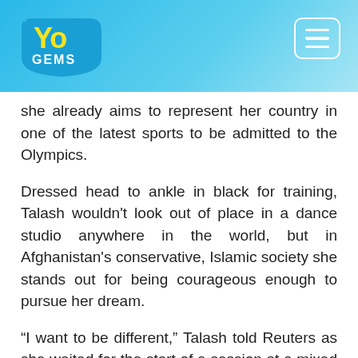[Figure (logo): YoGems logo with yellow 'Yo' text and blue 'GEMS' text on a blue gradient background, with a hamburger menu button in the top right corner]
she already aims to represent her country in one of the latest sports to be admitted to the Olympics.
Dressed head to ankle in black for training, Talash wouldn't look out of place in a dance studio anywhere in the world, but in Afghanistan's conservative, Islamic society she stands out for being courageous enough to pursue her dream.
“I want to be different,” Talash told Reuters as she waited for the start of a session at a mixed martial arts centre in Kabul. “I want to become a good role model in Afghanistan.”